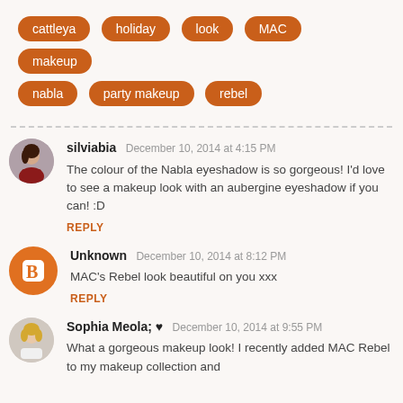cattleya
holiday
look
MAC
makeup
nabla
party makeup
rebel
silviabia December 10, 2014 at 4:15 PM
The colour of the Nabla eyeshadow is so gorgeous! I'd love to see a makeup look with an aubergine eyeshadow if you can! :D
REPLY
Unknown December 10, 2014 at 8:12 PM
MAC's Rebel look beautiful on you xxx
REPLY
Sophia Meola; ♥ December 10, 2014 at 9:55 PM
What a gorgeous makeup look! I recently added MAC Rebel to my makeup collection and